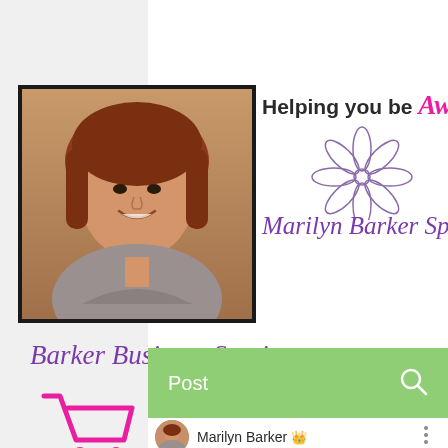[Figure (photo): Profile photo of a woman with reddish-brown hair, smiling, in a black-bordered square frame]
Helping you be Awesome!
Marilyn Barker Speaks
[Figure (illustration): A decorative flower/daisy SVG illustration in purple/violet tones]
Barker Business Services
[Figure (illustration): Shopping cart icon in pink/magenta outline]
[Figure (illustration): Hamburger menu icon (three horizontal lines)]
Post
[Figure (illustration): Search (magnifying glass) icon]
Marilyn Barker 👑